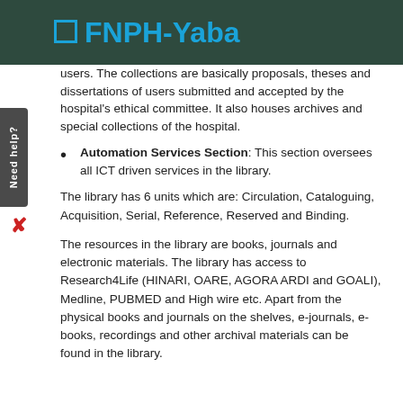FNPH-Yaba
users. The collections are basically proposals, theses and dissertations of users submitted and accepted by the hospital's ethical committee. It also houses archives and special collections of the hospital.
Automation Services Section: This section oversees all ICT driven services in the library.
The library has 6 units which are: Circulation, Cataloguing, Acquisition, Serial, Reference, Reserved and Binding.
The resources in the library are books, journals and electronic materials. The library has access to Research4Life (HINARI, OARE, AGORA ARDI and GOALI), Medline, PUBMED and High wire etc. Apart from the physical books and journals on the shelves, e-journals, e-books, recordings and other archival materials can be found in the library.